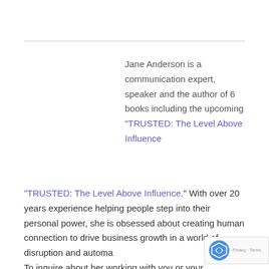Jane Anderson is a communication expert, speaker and the author of 6 books including the upcoming "TRUSTED: The Level Above Influence." With over 20 years experience helping people step into their personal power, she is obsessed about creating human connection to drive business growth in a world of disruption and automation. To inquire about her working with you or your...